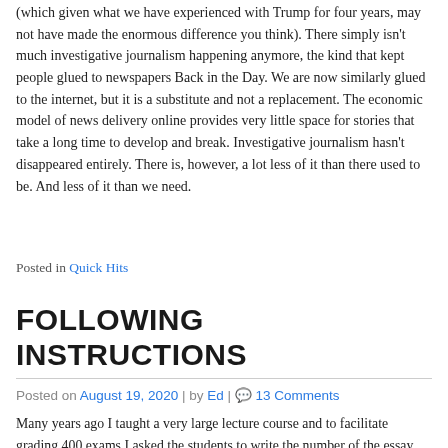(which given what we have experienced with Trump for four years, may not have made the enormous difference you think). There simply isn't much investigative journalism happening anymore, the kind that kept people glued to newspapers Back in the Day. We are now similarly glued to the internet, but it is a substitute and not a replacement. The economic model of news delivery online provides very little space for stories that take a long time to develop and break. Investigative journalism hasn't disappeared entirely. There is, however, a lot less of it than there used to be. And less of it than we need.
Posted in Quick Hits
FOLLOWING INSTRUCTIONS
Posted on August 19, 2020 | by Ed | 13 Comments
Many years ago I taught a very large lecture course and to facilitate grading 400 exams I asked the students to write the number of the essay they chose to do on the front of their blue books. I wrote